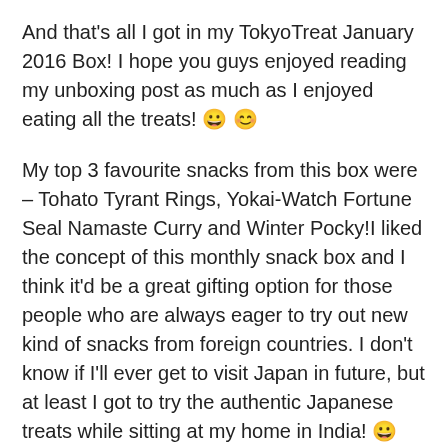And that's all I got in my TokyoTreat January 2016 Box! I hope you guys enjoyed reading my unboxing post as much as I enjoyed eating all the treats! 😀 😀
My top 3 favourite snacks from this box were – Tohato Tyrant Rings, Yokai-Watch Fortune Seal Namaste Curry and Winter Pocky!I liked the concept of this monthly snack box and I think it'd be a great gifting option for those people who are always eager to try out new kind of snacks from foreign countries. I don't know if I'll ever get to visit Japan in future, but at least I got to try the authentic Japanese treats while sitting at my home in India! 😀
Will I recommend the TokyoTreat Subscription